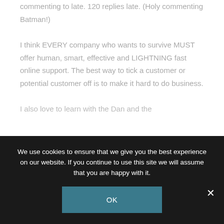I read this post early, but couldn't get to commenting to late. 120 replies late. (Holy commenting Batman!)
I think EVERY company who wants to survive MUST offer human, smart, effective and LIGHTNING fast online support. The best way to tick a customer or potential customer off is to make it hard to do business.
I also love to learn with the Dan and the...
We use cookies to ensure that we give you the best experience on our website. If you continue to use this site we will assume that you are happy with it.
OK